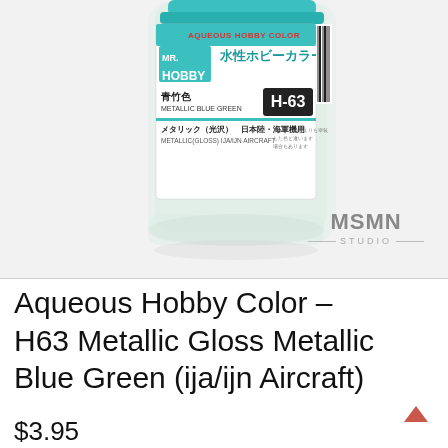[Figure (photo): Mr. Hobby Aqueous Hobby Color H-63 Metallic Blue Green paint bottle in a clear glass jar with a label showing the Mr. Hobby logo, Japanese text (水性ホビーカラー, 青竹色, メタリック(光沢) 日本陸・海軍機用), and English text (AQUEOUS HOBBY COLOR, METALLIC BLUE GREEN, H-63, METALLIC(GLOSS) IJA/IJN AIRCRAFT). MSMN STUDIO watermark in the lower right.]
Aqueous Hobby Color – H63 Metallic Gloss Metallic Blue Green (ija/ijn Aircraft)
$3.95